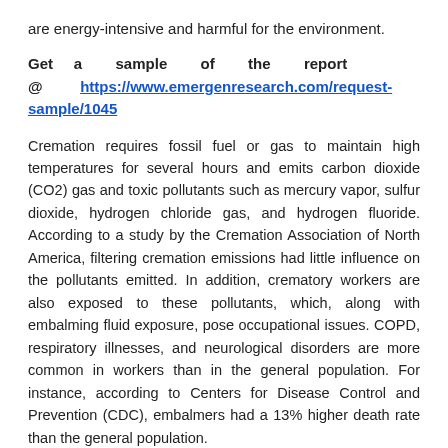are energy-intensive and harmful for the environment.
Get a sample of the report @ https://www.emergenresearch.com/request-sample/1045
Cremation requires fossil fuel or gas to maintain high temperatures for several hours and emits carbon dioxide (CO2) gas and toxic pollutants such as mercury vapor, sulfur dioxide, hydrogen chloride gas, and hydrogen fluoride. According to a study by the Cremation Association of North America, filtering cremation emissions had little influence on the pollutants emitted. In addition, crematory workers are also exposed to these pollutants, which, along with embalming fluid exposure, pose occupational issues. COPD, respiratory illnesses, and neurological disorders are more common in workers than in the general population. For instance, according to Centers for Disease Control and Prevention (CDC), embalmers had a 13% higher death rate than the general population.